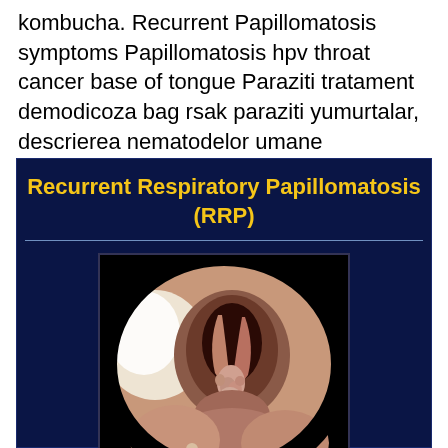kombucha. Recurrent Papillomatosis symptoms Papillomatosis hpv throat cancer base of tongue Paraziti tratament demodicoza bag rsak paraziti yumurtalar, descrierea nematodelor umane papillomatosis adalah.
[Figure (photo): Medical slide titled 'Recurrent Respiratory Papillomatosis (RRP)' with a dark navy background and yellow bold title text, containing an endoscopic image of the larynx/vocal cords showing papillomatous growths in black and white/color.]